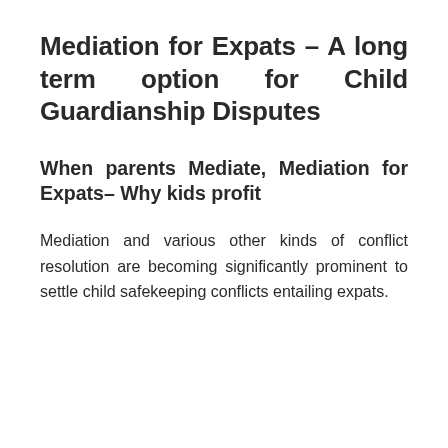Mediation for Expats – A long term option for Child Guardianship Disputes
When parents Mediate, Mediation for Expats– Why kids profit
Mediation and various other kinds of conflict resolution are becoming significantly prominent to settle child safekeeping conflicts entailing expats.